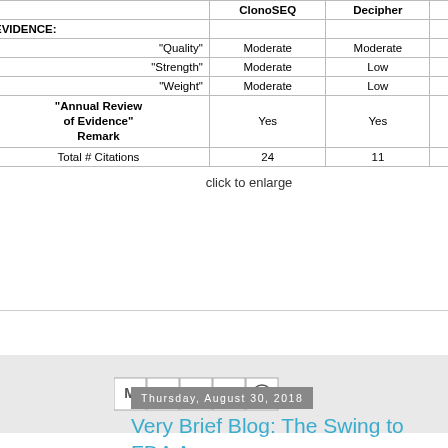|  | ClonoSEQ | Decipher | Envisia Lung | Inivata L... |
| --- | --- | --- | --- | --- |
| EVIDENCE: |  |  |  |  |
| "Quality" | Moderate | Moderate | Moderate | Moderate |
| "Strength" | Moderate | Low | Limited | Limited |
| "Weight" | Moderate | Low | Limited | Limited |
| "Annual Review of Evidence" Remark | Yes | Yes | Yes | (no) |
| Total # Citations | 24 | 11 | 23 | 35 |
click to enlarge
[Figure (other): Social sharing icons: Gmail, Blogger, Twitter, Facebook, Pinterest]
Thursday, August 30, 2018
Very Brief Blog: The Swing to FDA Appro... Discontinues F1 Test for CDx Test